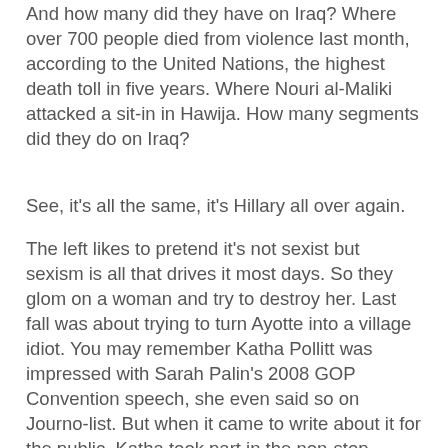And how many did they have on Iraq?  Where over 700 people died from violence last month, according to the United Nations, the highest death toll in five years.  Where Nouri al-Maliki attacked a sit-in in Hawija.  How many segments did they do on Iraq?
See, it's all the same, it's Hillary all over again.
The left likes to pretend it's not sexist but sexism is all that drives it most days.  So they glom on a woman and try to destroy her.  Last fall was about trying to turn Ayotte into a village idiot.  You may remember Katha Pollitt was impressed with Sarah Palin's 2008 GOP Convention speech, she even said so on Journo-list.  But when it came to write about it for the public, Katha took part in the non-stop attacks on Palin.  Katha wasn't alone.  And last fall was all about trying to do to Ayotte what they did to Palin.
That didn't work.
But they're not done with her yet.  Since their attempts to